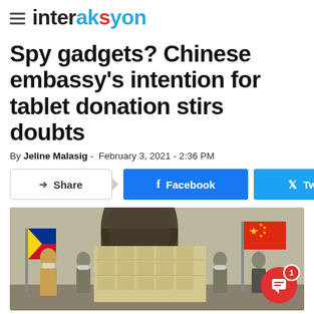interaksyon
Spy gadgets? Chinese embassy's intention for tablet donation stirs doubts
By Jeline Malasig - February 3, 2021 - 2:36 PM
[Figure (screenshot): Share buttons row: Share, Facebook, Twitter]
[Figure (photo): Photo of officials standing in front of stacked boxes of tablet donations, with Philippine and Chinese flags visible in the background. A red chat bubble with comment icon and count '1' is visible in the lower right corner.]